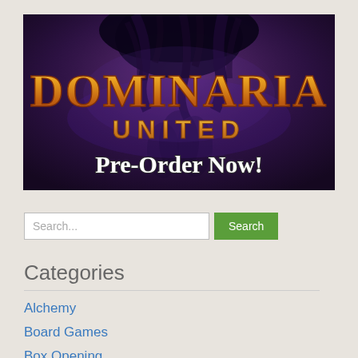[Figure (screenshot): Dominaria United Pre-Order Now! banner image with fantasy artwork showing a dark creature and the game title in golden and orange letters]
Search...
Categories
Alchemy
Board Games
Box Opening